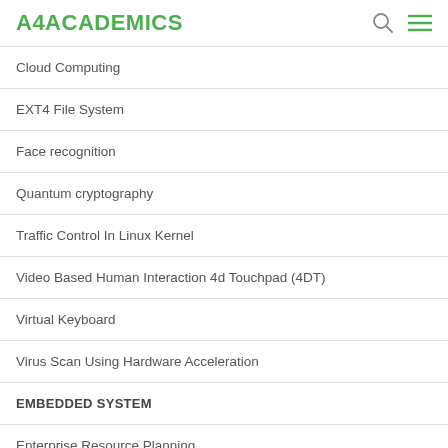A4ACADEMICS
Cloud Computing
EXT4 File System
Face recognition
Quantum cryptography
Traffic Control In Linux Kernel
Video Based Human Interaction 4d Touchpad (4DT)
Virtual Keyboard
Virus Scan Using Hardware Acceleration
EMBEDDED SYSTEM
Enterprise Resource Planning